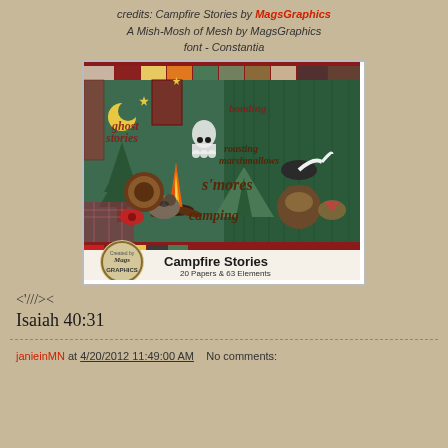credits: Campfire Stories by MagsGraphics
A Mish-Mosh of Mesh by MagsGraphics
font - Constantia
[Figure (illustration): Product preview image for 'Campfire Stories' digital scrapbooking kit by MagsGraphics. Shows camping-themed clipart elements: campfire, tent, animals (skunk, raccoon, bear), stars, moon, ghost, trees, plaid papers, ribbons. Bottom bar shows logo circle and title 'Campfire Stories 20 Papers & 63 Elements']
<'///><
Isaiah 40:31
janieinMN at 4/20/2012 11:49:00 AM   No comments: